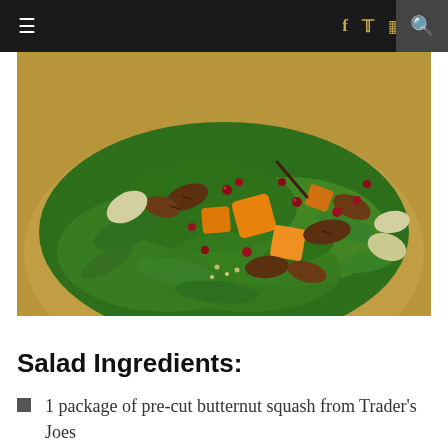≡  f  𝕏  📷   pinterest  🔍
[Figure (photo): A colorful salad in a bowl with spinach leaves, roasted butternut squash chunks, pecans, pomegranate seeds, sliced pears, and other toppings on a golden-colored plate.]
Salad Ingredients:
1 package of pre-cut butternut squash from Trader's Joes
1 to 1.5 cups pecans, caramelized